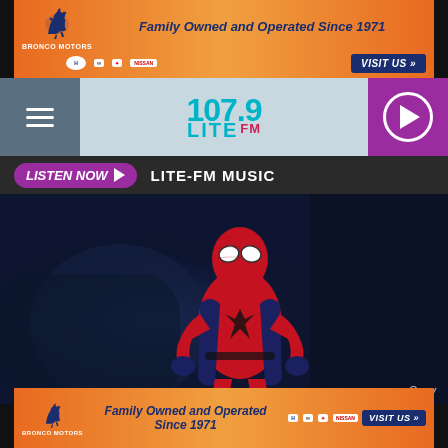[Figure (screenshot): Bronco Motors advertisement banner - orange gradient background with horse logo, text 'Family Owned and Operated Since 1971', car brand logos (Hyundai, Infiniti, Mitsubishi, Nissan), and 'VISIT US' button]
[Figure (logo): 107.9 LITE FM radio station logo in teal/cyan color on light blue-gray background]
LISTEN NOW ▶ LITE-FM MUSIC
[Figure (photo): Spider-Man in red and blue suit standing in a dark room, movie still from Sony Pictures]
Sony
[Figure (screenshot): Bronco Motors advertisement banner (bottom) - orange gradient background with horse logo, text 'Family Owned and Operated Since 1971', car brand logos, and 'VISIT US' button]